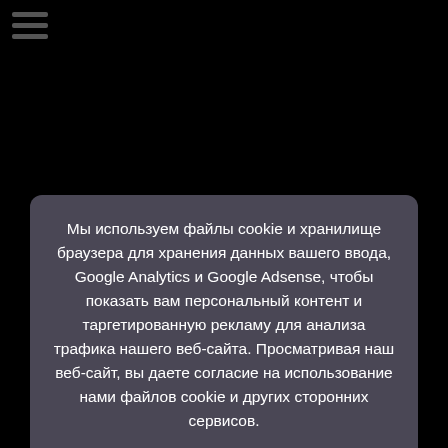Мы используем файлы cookie и хранилище браузера для хранения данных вашего ввода, Google Analytics и Google Adsense, чтобы показать вам персональный контент и таргетированную рекламу для анализа трафика нашего веб-сайта. Просматривая наш веб-сайт, вы даете согласие на использование нами файлов cookie и других сторонних сервисов.
Для получения подробной информации, прочитайте нашу Политику